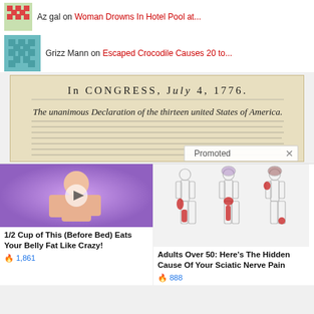Az gal on Woman Drowns In Hotel Pool at...
Grizz Mann on Escaped Crocodile Causes 20 to...
[Figure (photo): Image of the Declaration of Independence header showing 'In CONGRESS, July 4, 1776' and 'The unanimous Declaration of the thirteen united States of America' with handwritten text below. A 'Promoted X' badge is shown in the bottom right corner.]
[Figure (photo): Promotional ad image showing a person stretching their arm/shoulder with a video play button overlay, on a purple background.]
1/2 Cup of This (Before Bed) Eats Your Belly Fat Like Crazy!
🔥 1,861
[Figure (illustration): Medical illustration showing multiple human body silhouettes with red highlighted areas indicating sciatic nerve pain locations.]
Adults Over 50: Here's The Hidden Cause Of Your Sciatic Nerve Pain
🔥 888